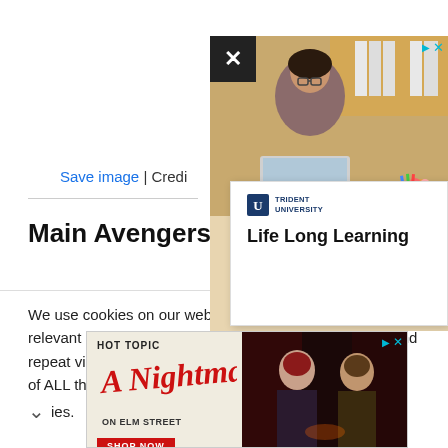[Figure (screenshot): Advertisement for Trident University showing a woman working at a laptop with bookshelves in the background, with a black X close button in the top-left of the ad. A popup card shows the Trident University logo and the text 'Life Long Learning'.]
Save image | Credit
Main Avengers Squ
We use cookies on our website to give you the most relevant experience by remembering your preferences and repeat visits. By clicking “Accept”, you consent to the use of ALL the ies.
[Figure (screenshot): Advertisement for Hot Topic featuring 'A Nightmare on Elm Street' with two people in gothic/horror style clothing and a 'SHOP NOW' button.]